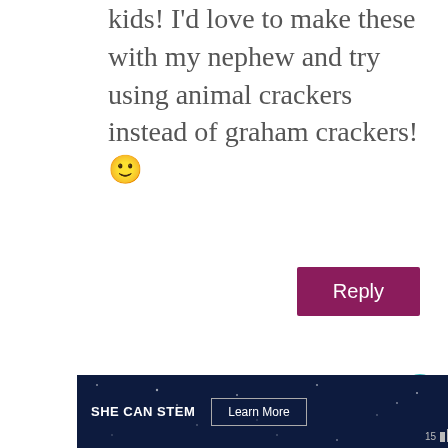kids! I'd love to make these with my nephew and try using animal crackers instead of graham crackers! 🙂
Reply
Andrew Hair on 1/30/13 at 8:59 pm
I wish my Mom made giant cookies
[Figure (infographic): Heart/like button with teal circle and count 105, share button]
[Figure (infographic): WHAT'S NEXT panel showing Chocolate Nutella Cake with thumbnail image]
[Figure (infographic): SHE CAN STEM advertisement banner with Learn More button and weather widget]